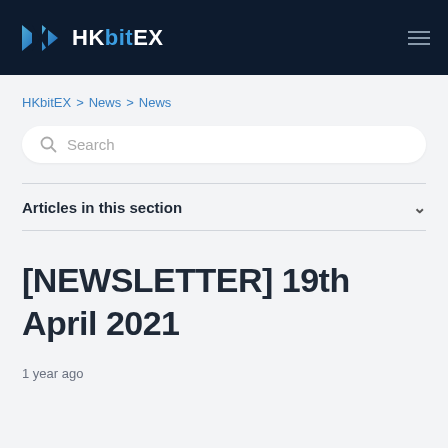HKbitEX
HKbitEX > News > News
Search
Articles in this section
[NEWSLETTER] 19th April 2021
1 year ago